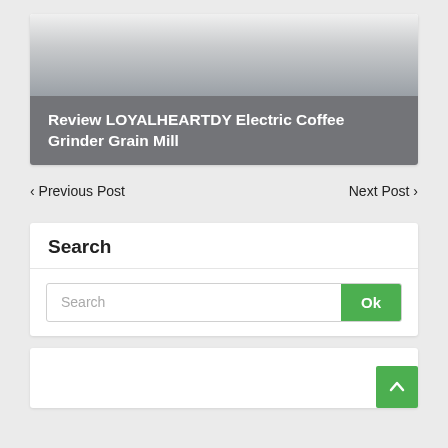[Figure (photo): Product image card showing LOYALHEARTDY Electric Coffee Grinder Grain Mill with a dark overlay title banner]
Review LOYALHEARTDY Electric Coffee Grinder Grain Mill
< Previous Post
Next Post >
Search
Search
Ok